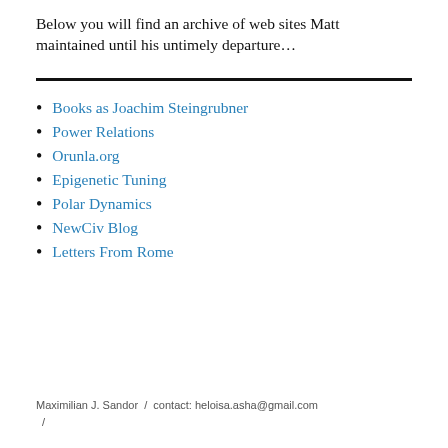Below you will find an archive of web sites Matt maintained until his untimely departure…
Books as Joachim Steingrubner
Power Relations
Orunla.org
Epigenetic Tuning
Polar Dynamics
NewCiv Blog
Letters From Rome
Maximilian J. Sandor  /  contact: heloisa.asha@gmail.com  /